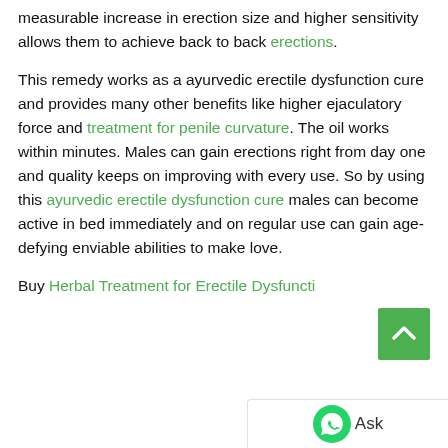measurable increase in erection size and higher sensitivity allows them to achieve back to back erections.
This remedy works as a ayurvedic erectile dysfunction cure and provides many other benefits like higher ejaculatory force and treatment for penile curvature. The oil works within minutes. Males can gain erections right from day one and quality keeps on improving with every use. So by using this ayurvedic erectile dysfunction cure males can become active in bed immediately and on regular use can gain age-defying enviable abilities to make love.
Buy Herbal Treatment for Erectile Dysfuncti...